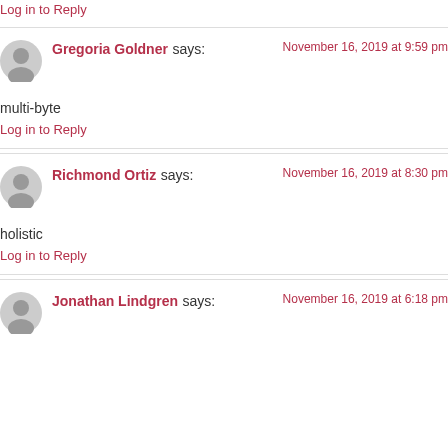Log in to Reply
Gregoria Goldner says: November 16, 2019 at 9:59 pm
multi-byte
Log in to Reply
Richmond Ortiz says: November 16, 2019 at 8:30 pm
holistic
Log in to Reply
Jonathan Lindgren says: November 16, 2019 at 6:18 pm